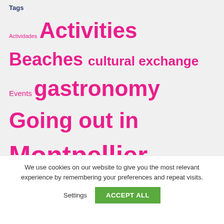Tags
Actividades Activities Beaches cultural exchange Events gastronomy Going out in Montpellier IEF staff language exchange nature Pique-nique Practical information salir en Montpellier shows sports students summer Tourism turismo
Home Montpellier The School French Courses Terms of Registration Accommodation Blog Legal & privacy Cookies Registration
We use cookies on our website to give you the most relevant experience by remembering your preferences and repeat visits.
Settings ACCEPT ALL